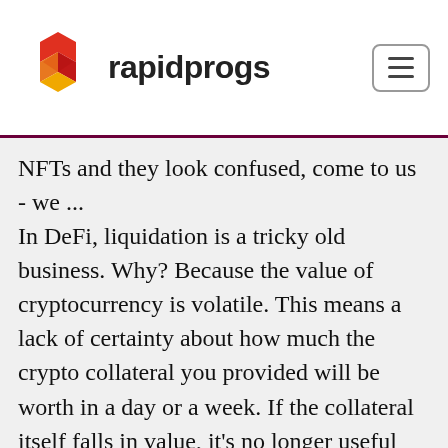rapidprogs
NFTs and they look confused, come to us - we ... In DeFi, liquidation is a tricky old business. Why? Because the value of cryptocurrency is volatile. This means a lack of certainty about how much the crypto collateral you provided will be worth in a day or a week. If the collateral itself falls in value, it's no longer useful for mitigating loss. DeFi in the crypto space . Truth is, DeFi is already a major part of the crypto ecosystem. And while it's clear that DeFi is a giant leap forward for the whole crypto world with already more than $98 billion locked in contracts, the current state of it is still far